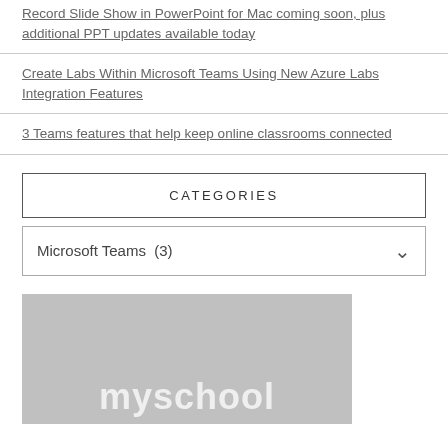Record Slide Show in PowerPoint for Mac coming soon, plus additional PPT updates available today
Create Labs Within Microsoft Teams Using New Azure Labs Integration Features
3 Teams features that help keep online classrooms connected
CATEGORIES
Microsoft Teams  (3)
[Figure (logo): Grey rectangular image with 'myschool' text in white at the bottom]